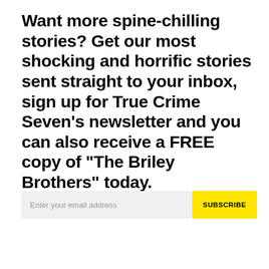Want more spine-chilling stories? Get our most shocking and horrific stories sent straight to your inbox, sign up for True Crime Seven's newsletter and you can also receive a FREE copy of “The Briley Brothers” today.
Enter your email address | SUBSCRIBE